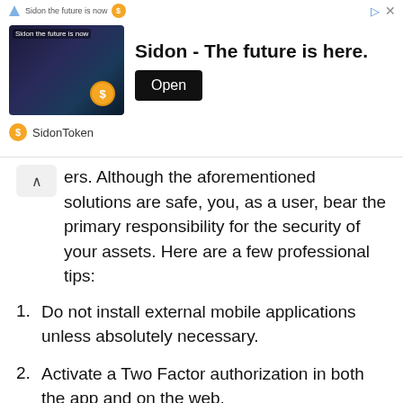[Figure (other): Advertisement banner for SidonToken. Image of a fantasy dark mountain scene with a gold coin. Headline reads 'Sidon - The future is here.' with an Open button. Brand row shows SidonToken logo.]
ers. Although the aforementioned solutions are safe, you, as a user, bear the primary responsibility for the security of your assets. Here are a few professional tips:
Do not install external mobile applications unless absolutely necessary.
Activate a Two Factor authorization in both the app and on the web.
Whenever someone sends you links, always double check them.
Beware of Slack bots! Do not click on any links